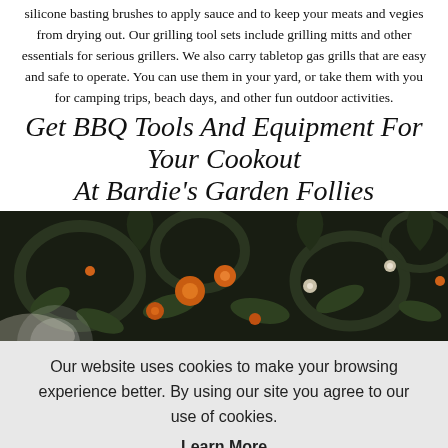silicone basting brushes to apply sauce and to keep your meats and vegies from drying out. Our grilling tool sets include grilling mitts and other essentials for serious grillers. We also carry tabletop gas grills that are easy and safe to operate. You can use them in your yard, or take them with you for camping trips, beach days, and other fun outdoor activities.
Get BBQ Tools And Equipment For Your Cookout At Bardie's Garden Follies
[Figure (photo): Dark decorative botanical background with orange flowers, green leaves and swirling vines on a near-black background.]
Our website uses cookies to make your browsing experience better. By using our site you agree to our use of cookies.
Learn More
I Agree